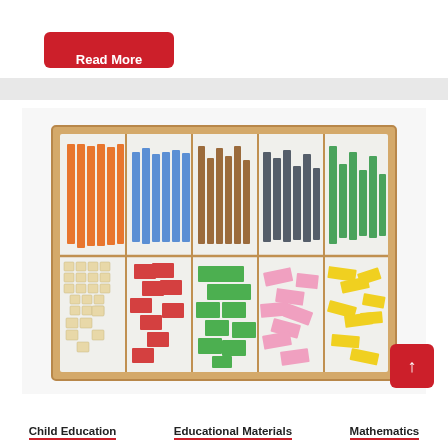Read More
[Figure (photo): A wooden box organizer containing colorful counting sticks and blocks: orange, blue, brown, dark grey, and green vertical sticks in the top row; and beige small cubes, red, green, pink, and yellow flat blocks in the bottom row — Montessori educational math materials.]
↑
Child Education
Educational Materials
Mathematics